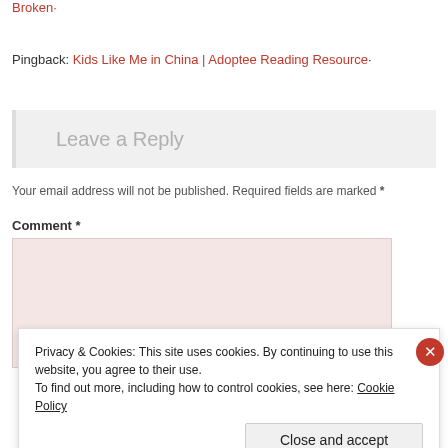Broken·
Pingback: Kids Like Me in China | Adoptee Reading Resource·
Leave a Reply
Your email address will not be published. Required fields are marked *
Comment *
Privacy & Cookies: This site uses cookies. By continuing to use this website, you agree to their use.
To find out more, including how to control cookies, see here: Cookie Policy
Close and accept